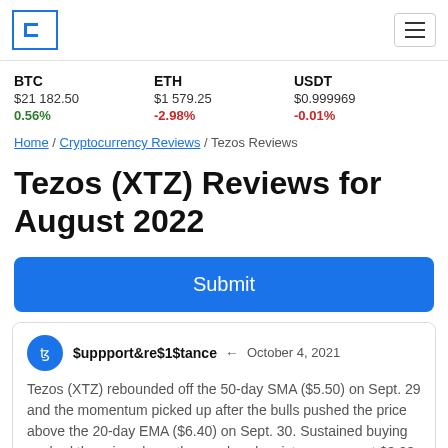Coincodex logo and hamburger menu
BTC $21 182.50 0.56%
ETH $1 579.25 -2.98%
USADT $0.999969 -0.01%
Home / Cryptocurrency Reviews / Tezos Reviews
Tezos (XTZ) Reviews for August 2022
Submit
$uppport&re$1$tance ← October 4, 2021
Tezos (XTZ) rebounded off the 50-day SMA ($5.50) on Sept. 29 and the momentum picked up after the bulls pushed the price above the 20-day EMA ($6.40) on Sept. 30. Sustained buying pushed the price above the overhead resistance zone at $8.03